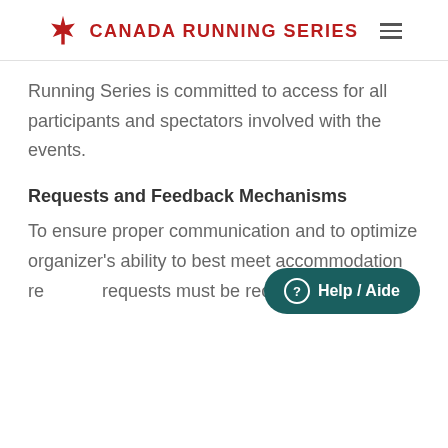CANADA RUNNING SERIES
Running Series is committed to access for all participants and spectators involved with the events.
Requests and Feedback Mechanisms
To ensure proper communication and to optimize organizer's ability to best meet accommodation re... requests must be received to